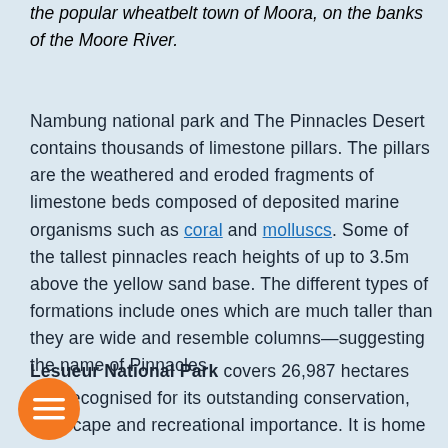the popular wheatbelt town of Moora, on the banks of the Moore River.
Nambung national park and The Pinnacles Desert contains thousands of limestone pillars. The pillars are the weathered and eroded fragments of limestone beds composed of deposited marine organisms such as coral and molluscs. Some of the tallest pinnacles reach heights of up to 3.5m above the yellow sand base. The different types of formations include ones which are much taller than they are wide and resemble columns—suggesting the name of Pinnacles
Lesueur National Park covers 26,987 hectares and recognised for its outstanding conservation, landscape and recreational importance. It is home